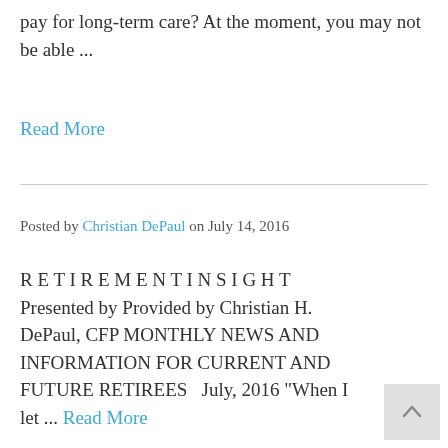pay for long-term care? At the moment, you may not be able ...
Read More
Posted by Christian DePaul on July 14, 2016
R E T I R E M E N T I N S I G H T Presented by Provided by Christian H. DePaul, CFP MONTHLY NEWS AND INFORMATION FOR CURRENT AND FUTURE RETIREES   July, 2016 "When I let ... Read More